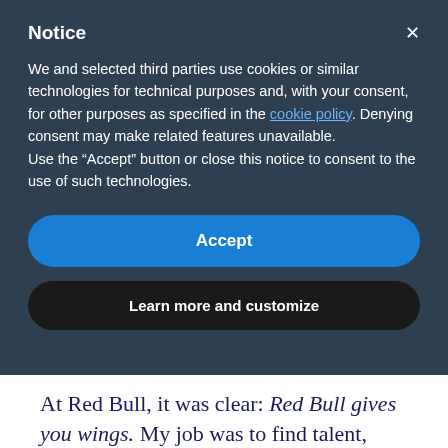Notice
We and selected third parties use cookies or similar technologies for technical purposes and, with your consent, for other purposes as specified in the cookie policy. Denying consent may make related features unavailable.
Use the “Accept” button or close this notice to consent to the use of such technologies.
Accept
Learn more and customize
At Red Bull, it was clear: Red Bull gives you wings. My job was to find talent, foster ideas, bring them to life and give people an experience. Another example of such clarity that I love is Apple. That co...